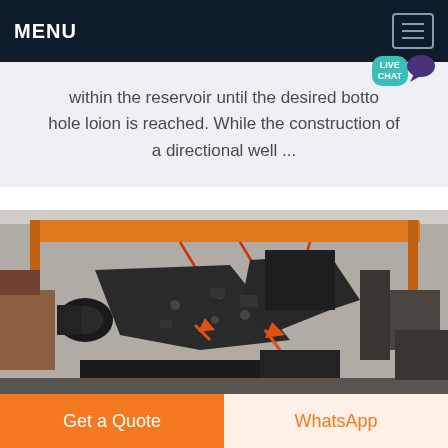MENU
within the reservoir until the desired bottom hole loion is reached. While the construction of a directional well ...
[Figure (photo): Large industrial impact crusher/jaw crusher machine in a factory warehouse setting. The machine is dark grey/black and is suspended or positioned under an orange overhead crane structure. Various machinery and equipment visible in the background.]
Get a Quote
WhatsApp